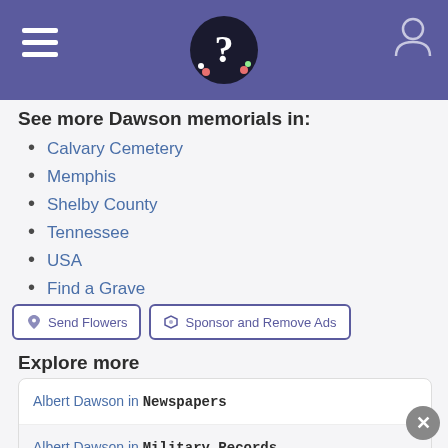Find a Grave header navigation
See more Dawson memorials in:
Calvary Cemetery
Memphis
Shelby County
Tennessee
USA
Find a Grave
Send Flowers | Sponsor and Remove Ads
Explore more
Albert Dawson in Newspapers
Albert Dawson in Military Records
View more records for Albert Dawson at Ancestry.com